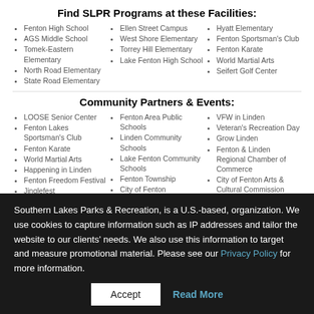Find SLPR Programs at these Facilities:
Fenton High School
AGS Middle School
Tomek-Eastern Elementary
North Road Elementary
State Road Elementary
Ellen Street Campus
West Shore Elementary
Torrey Hill Elementary
Lake Fenton High School
Hyatt Elementary
Fenton Sportsman's Club
Fenton Karate
World Martial Arts
Seifert Golf Center
Community Partners & Events:
LOOSE Senior Center
Fenton Lakes Sportsman's Club
Fenton Karate
World Martial Arts
Happening in Linden
Fenton Freedom Festival
Jinglefest
Fenton Beautification
Fenton Area Public Schools
Linden Community Schools
Lake Fenton Community Schools
Fenton Township
City of Fenton
City of Linden
VFW in Linden
Veteran's Recreation Day
Grow Linden
Fenton & Linden Regional Chamber of Commerce
City of Fenton Arts & Cultural Commission
Fenton Community
Southern Lakes Parks & Recreation, is a U.S.-based, organization. We use cookies to capture information such as IP addresses and tailor the website to our clients' needs. We also use this information to target and measure promotional material. Please see our Privacy Policy for more information.